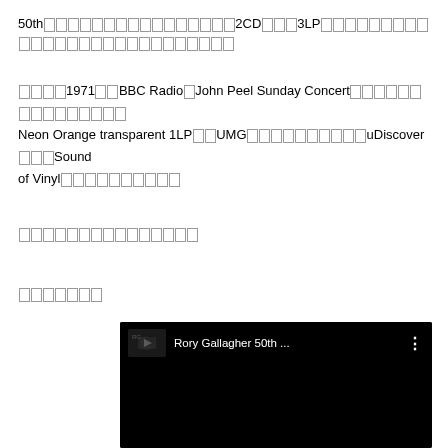50th□□□□□□□□□□□□□□□□2CD□□□3LP□□□□□□□□□□□□□□□□□□□□□□□□□□□□
□□□□1971□□BBC Radio□John Peel Sunday Concert□□□□□□□□□□□□□□□□□
Neon Orange transparent 1LP□□UMG□□□□□□□□□□uDiscover□□□Sound of Vinyl□□□□□□□□□□□
□□□□□□□□□□□□□□□
□□□□□□□
[Figure (screenshot): YouTube video player embed showing 'Rory Gallagher 50th ...' with a dark thumbnail and three-dot menu icon]